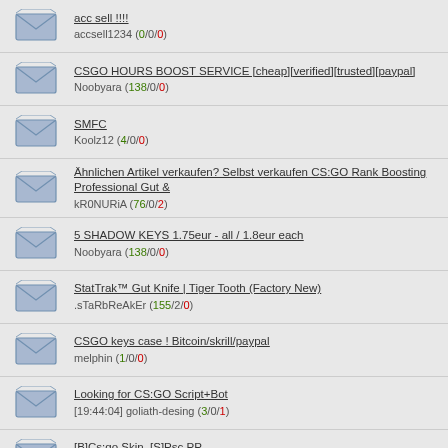acc sell !!!! accsell1234 (0/0/0)
CSGO HOURS BOOST SERVICE [cheap][verified][trusted][paypal] Noobyara (138/0/0)
SMFC Koolz12 (4/0/0)
Ähnlichen Artikel verkaufen? Selbst verkaufen CS:GO Rank Boosting Professional Gut & kR0NURiA (76/0/2)
5 SHADOW KEYS 1.75eur - all / 1.8eur each Noobyara (138/0/0)
StatTrak™ Gut Knife | Tiger Tooth (Factory New) .sTaRbReAkEr (155/2/0)
CSGO keys case ! Bitcoin/skrill/paypal melphin (1/0/0)
Looking for CS:GO Script+Bot [19:44:04] goliath-desing (3/0/1)
[B]Cs:go Skin, [S]Psc,PP joshi12 (3/1/0)
Account Sotre by Jockynator 1337dev (96/0/0)